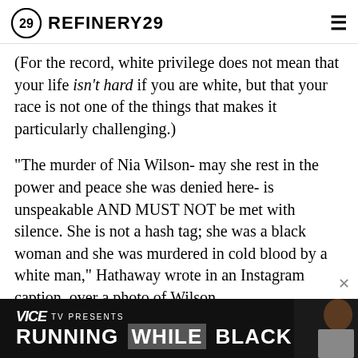REFINERY29
(For the record, white privilege does not mean that your life isn't hard if you are white, but that your race is not one of the things that makes it particularly challenging.)
"The murder of Nia Wilson- may she rest in the power and peace she was denied here- is unspeakable AND MUST NOT be met with silence. She is not a hash tag; she was a black woman and she was murdered in cold blood by a white man," Hathaway wrote in an Instagram caption, over a photo of Wilson.
Hathaway added:
[Figure (screenshot): VICE TV advertisement banner at the bottom reading 'VICE TV PRESENTS RUNNING WHILE BLACK' with a person visible on the right side]